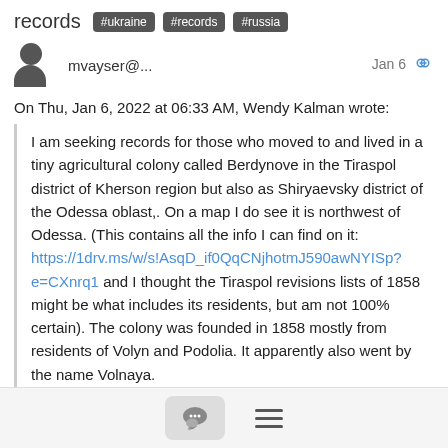records #ukraine #records #russia
mvayser@...   Jan 6
On Thu, Jan 6, 2022 at 06:33 AM, Wendy Kalman wrote:
I am seeking records for those who moved to and lived in a tiny agricultural colony called Berdynove in the Tiraspol district of Kherson region but also as Shiryaevsky district of the Odessa oblast,. On a map I do see it is northwest of Odessa. (This contains all the info I can find on it: https://1drv.ms/w/s!AsqD_if0QqCNjhotmJ590awNYISp?e=CXnrq1 and I thought the Tiraspol revisions lists of 1858 might be what includes its residents, but am not 100% certain). The colony was founded in 1858 mostly from residents of Volyn and Podolia. It apparently also went by the name Volnaya.
Four BURDA siblings born mostly in the 1890s left there in